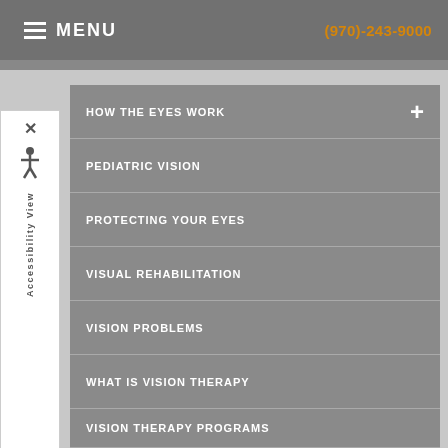MENU | (970)-243-9000
HOW THE EYES WORK
PEDIATRIC VISION
PROTECTING YOUR EYES
VISUAL REHABILITATION
VISION PROBLEMS
WHAT IS VISION THERAPY
VISION THERAPY PROGRAMS
WE CAN HELP WITH
NEWSLETTERS